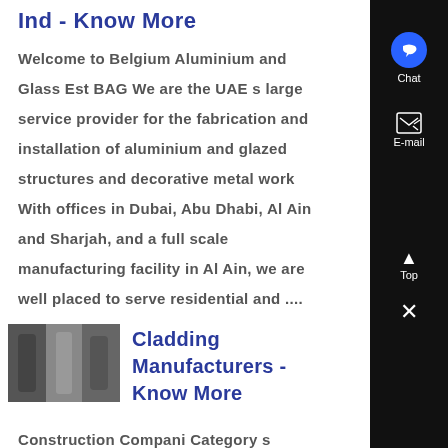Ind - Know More
Welcome to Belgium Aluminium and Glass Est BAG We are the UAE s largest service provider for the fabrication and installation of aluminium and glazed structures and decorative metal work With offices in Dubai, Abu Dhabi, Al Ain and Sharjah, and a full scale manufacturing facility in Al Ain, we are well placed to serve residential and ....
[Figure (photo): Thumbnail photo of metal cladding or aluminium structures]
Cladding Manufacturers - Know More
Construction Compani Category s Building Maintenance Repairing